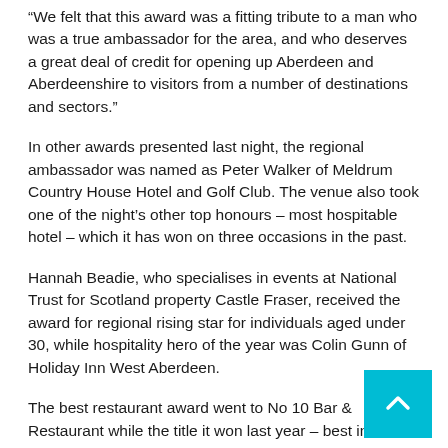“We felt that this award was a fitting tribute to a man who was a true ambassador for the area, and who deserves a great deal of credit for opening up Aberdeen and Aberdeenshire to visitors from a number of destinations and sectors.”
In other awards presented last night, the regional ambassador was named as Peter Walker of Meldrum Country House Hotel and Golf Club. The venue also took one of the night’s other top honours – most hospitable hotel – which it has won on three occasions in the past.
Hannah Beadie, who specialises in events at National Trust for Scotland property Castle Fraser, received the award for regional rising star for individuals aged under 30, while hospitality hero of the year was Colin Gunn of Holiday Inn West Aberdeen.
The best restaurant award went to No 10 Bar & Restaurant while the title it won last year – best informal